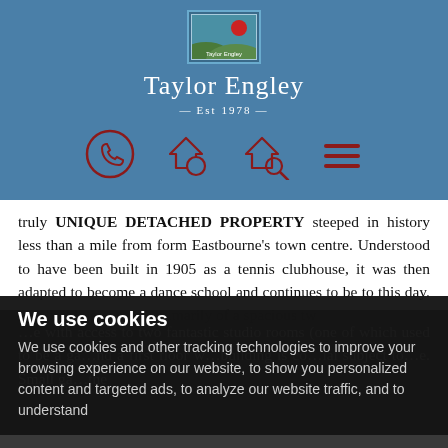[Figure (logo): Taylor Engley estate agency logo with green hills and red sun, Est 1978]
Taylor Engley
Est 1978
[Figure (infographic): Navigation icons: phone, house with circle, house with magnifier, hamburger menu — all in dark red/maroon on blue background]
truly UNIQUE DETACHED PROPERTY steeped in history less than a mile from form Eastbourne's town centre. Understood to have been built in 1905 as a tennis clubhouse, it was then adapted to become a dance school and continues to be to this day. The building consists primarily of a spacious tw… with access to two fantastic studio rooms (one of which used to be a ga… and a first floor w… building is co… ial subject to … e. Small ga… the
We use cookies
We use cookies and other tracking technologies to improve your browsing experience on our website, to show you personalized content and targeted ads, to analyze our website traffic, and to understand